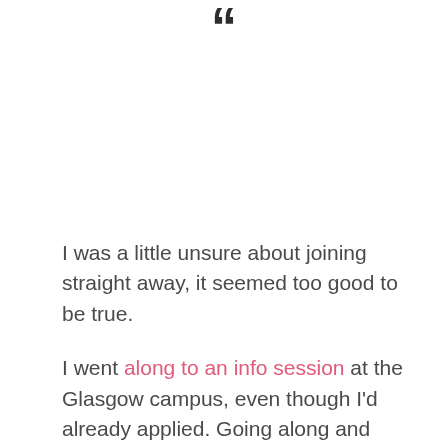[Figure (illustration): Decorative quotation mark symbol at top center of page]
I was a little unsure about joining straight away, it seemed too good to be true.
I went along to an info session at the Glasgow campus, even though I'd already applied. Going along and speaking with previous students and instructors made me